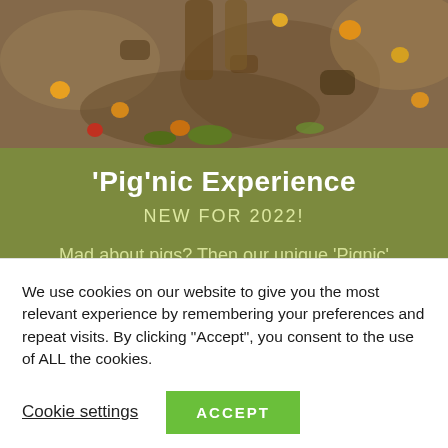[Figure (photo): Photo of pigs rooting through soil and vegetables/produce scattered on dirt ground]
'Pig'nic Experience
NEW FOR 2022!
Mad about pigs? Then our unique 'Pignic' Experience...
We use cookies on our website to give you the most relevant experience by remembering your preferences and repeat visits. By clicking "Accept", you consent to the use of ALL the cookies.
Cookie settings
ACCEPT